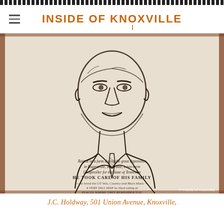INSIDE OF KNOXVILLE
[Figure (illustration): A pencil/charcoal portrait sketch of J.C. Holdway, an older man in a suit and tie, smiling. Below the portrait is handwritten text reading: 'Raised on a farm during the great depression in Rogersville, Tennessee, a two-term Comptroller for the State of Tennessee HE TOOK CARE OF HIS FAMILY — he loved the UT Vols, Country and Blues Music — A VERY TALL MAN he liked eating at PLACES WHERE THEY REMEMBER YOU'. Watermark: © Inside of Knoxville]
J.C. Holdway, 501 Union Avenue, Knoxville,